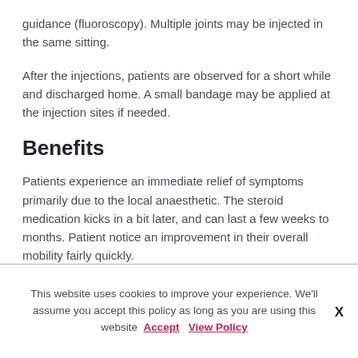guidance (fluoroscopy). Multiple joints may be injected in the same sitting.
After the injections, patients are observed for a short while and discharged home. A small bandage may be applied at the injection sites if needed.
Benefits
Patients experience an immediate relief of symptoms primarily due to the local anaesthetic. The steroid medication kicks in a bit later, and can last a few weeks to months. Patient notice an improvement in their overall mobility fairly quickly.
This website uses cookies to improve your experience. We'll assume you accept this policy as long as you are using this website  Accept  View Policy